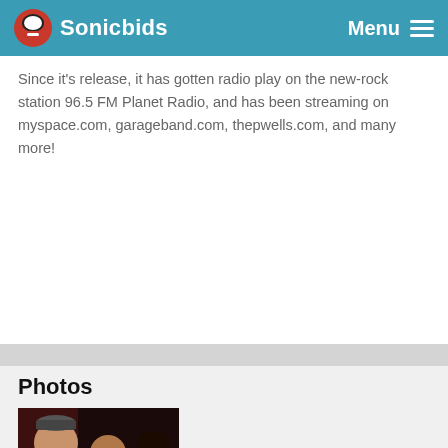Sonicbids  Menu
Since it's release, it has gotten radio play on the new-rock station 96.5 FM Planet Radio, and has been streaming on myspace.com, garageband.com, thepwells.com, and many more!
Photos
[Figure (photo): Black and white photo of three band members together]